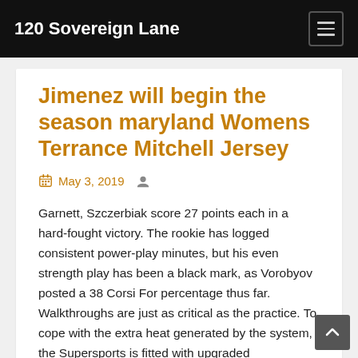120 Sovereign Lane
Jimenez will begin the season maryland Womens Terrance Mitchell Jersey
May 3, 2019
Garnett, Szczerbiak score 27 points each in a hard-fought victory. The rookie has logged consistent power-play minutes, but his even strength play has been a black mark, as Vorobyov posted a 38 Corsi For percentage thus far. Walkthroughs are just as critical as the practice. To cope with the extra heat generated by the system, the Supersports is fitted with upgraded